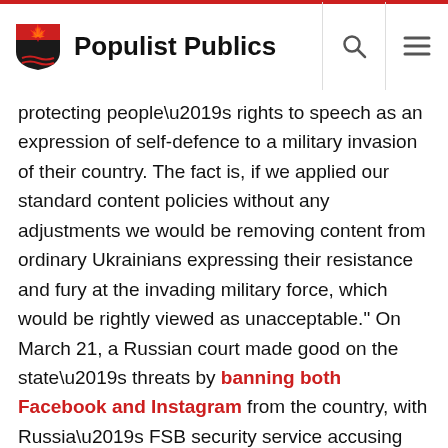Populist Publics
protecting people’s rights to speech as an expression of self-defence to a military invasion of their country. The fact is, if we applied our standard content policies without any adjustments we would be removing content from ordinary Ukrainians expressing their resistance and fury at the invading military force, which would be rightly viewed as unacceptable.” On March 21, a Russian court made good on the state’s threats by banning both Facebook and Instagram from the country, with Russia’s FSB security service accusing Meta of “creating an alternate reality” in which “hatred for Russians was kindled”.
Tech-savvy Russians have responded to the increasing information blackout in the country by turning to VPNs (Virtual Private Networks), a private, encrypted network connection that allows a publicly linked network to obfuscate a user’s IP and bypass firewalls blocking government-